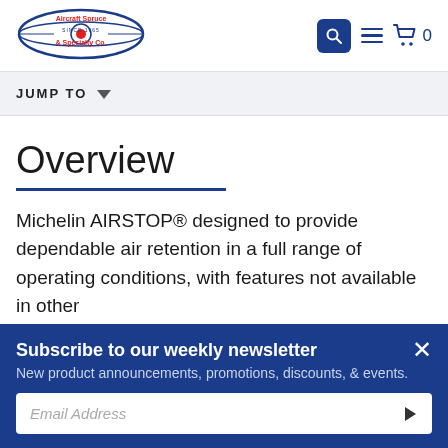[Figure (logo): Aircraft Spruce & Specialty Co. logo with airplane silhouette, since 1965]
JUMP TO
Overview
Michelin AIRSTOP® designed to provide dependable air retention in a full range of operating conditions, with features not available in other
Subscribe to our weekly newsletter
New product announcements, promotions, discounts, & events.